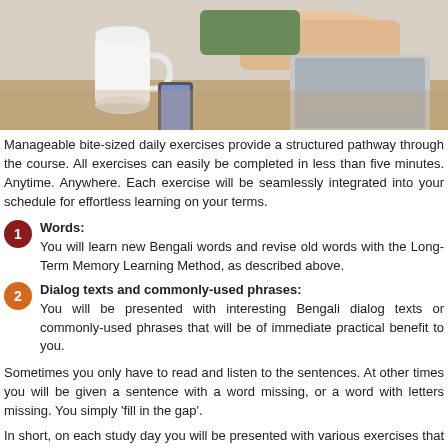[Figure (photo): Person sitting at a desk using a laptop computer, with a white coffee mug and a smartphone on the desk surface.]
Manageable bite-sized daily exercises provide a structured pathway through the course. All exercises can easily be completed in less than five minutes. Anytime. Anywhere. Each exercise will be seamlessly integrated into your schedule for effortless learning on your terms.
Words: You will learn new Bengali words and revise old words with the Long-Term Memory Learning Method, as described above.
Dialog texts and commonly-used phrases: You will be presented with interesting Bengali dialog texts or commonly-used phrases that will be of immediate practical benefit to you.
Sometimes you only have to read and listen to the sentences. At other times you will be given a sentence with a word missing, or a word with letters missing. You simply 'fill in the gap'.
In short, on each study day you will be presented with various exercises that ensure you thoroughly absorb your new language.